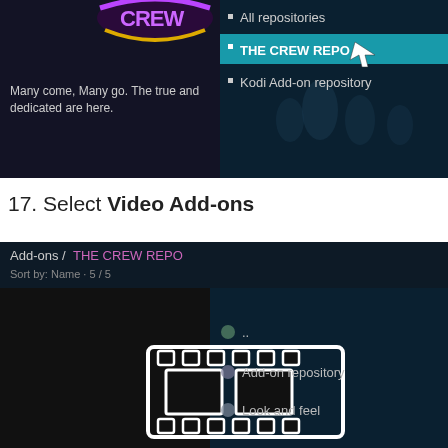[Figure (screenshot): Kodi UI screenshot showing The Crew Repo logo with text 'Many come, Many go. The true and dedicated are here.' on the left, and a repository list on the right with 'All repositories', 'THE CREW REPO' highlighted in teal, and 'Kodi Add-on repository' with a cursor arrow.]
17. Select Video Add-ons
[Figure (screenshot): Kodi Add-ons / THE CREW REPO screen. Header shows 'Add-ons / THE CREW REPO' and 'Sort by: Name · 5 / 5'. Left panel shows a film reel icon. Right panel lists: '..', 'Add-on repository', 'Look and feel'.]